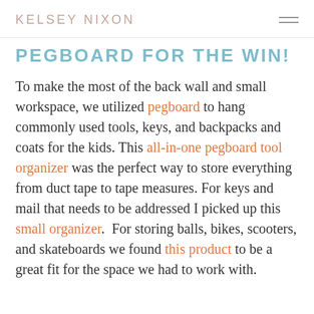KELSEY NIXON
PEGBOARD FOR THE WIN!
To make the most of the back wall and small workspace, we utilized pegboard to hang commonly used tools, keys, and backpacks and coats for the kids. This all-in-one pegboard tool organizer was the perfect way to store everything from duct tape to tape measures. For keys and mail that needs to be addressed I picked up this small organizer. For storing balls, bikes, scooters, and skateboards we found this product to be a great fit for the space we had to work with.